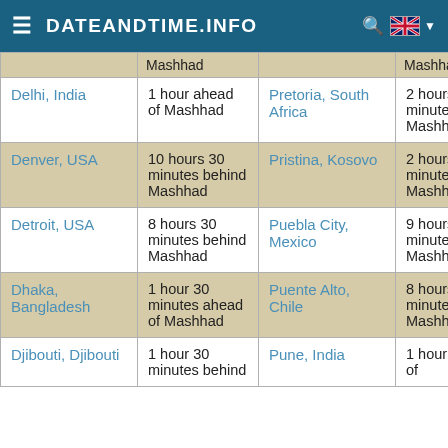DATEANDTIME.INFO
| City | Time difference | City | Time difference |
| --- | --- | --- | --- |
|  | Mashhad |  | Mashhad |
| Delhi, India | 1 hour ahead of Mashhad | Pretoria, South Africa | 2 hours 30 minutes behind Mashhad |
| Denver, USA | 10 hours 30 minutes behind Mashhad | Pristina, Kosovo | 2 hours 30 minutes behind Mashhad |
| Detroit, USA | 8 hours 30 minutes behind Mashhad | Puebla City, Mexico | 9 hours 30 minutes behind Mashhad |
| Dhaka, Bangladesh | 1 hour 30 minutes ahead of Mashhad | Puente Alto, Chile | 8 hours 30 minutes behind Mashhad |
| Djibouti, Djibouti | 1 hour 30 minutes behind... | Pune, India | 1 hour ahead of... |